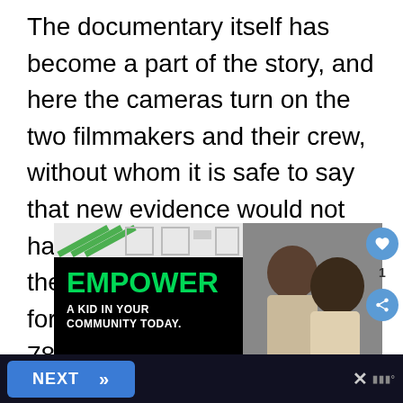The documentary itself has become a part of the story, and here the cameras turn on the two filmmakers and their crew, without whom it is safe to say that new evidence would not have come to light that led to the three men being released form prison after 18 years and 78 days.
[Figure (screenshot): Advertisement banner with EMPOWER A KID IN YOUR COMMUNITY TODAY text on black background with green heading, alongside a photo of an adult and child, with a NEXT button at the bottom and sidebar like/share buttons.]